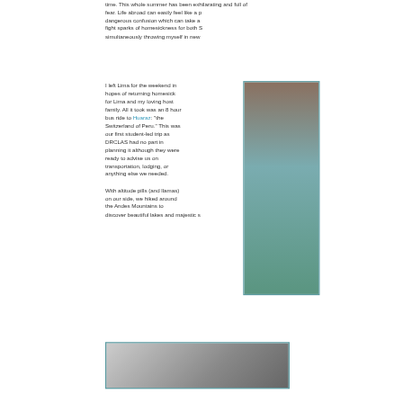time. This whole summer has been exhilarating and full of fear. Life abroad can easily feel like a perpetual state of dangerous confusion which can take a toll and can easily fight sparks of homesickness for both S... simultaneously throwing myself in new...
I left Lima for the weekend in hopes of returning homesick for Lima and my loving host family. All it took was an 8 hour bus ride to Huaraz: "the Switzerland of Peru." This was our first student-led trip as DRCLAS had no part in planning it although they were ready to advise us on transportation, lodging, or anything else we needed.
[Figure (photo): Photograph showing a mountain lake and rocky terrain, partially visible on the right side of the page]
With altitude pills (and llamas) on our side, we hiked around the Andes Mountains to discover beautiful lakes and majestic s...
[Figure (photo): Photograph at the bottom of the page showing what appears to be a llama or similar animal with white fur, partially visible]